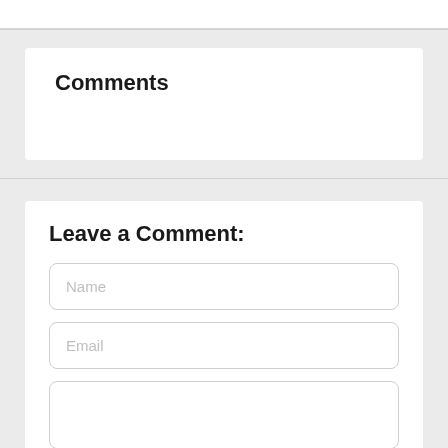Comments
Leave a Comment:
Name
Email